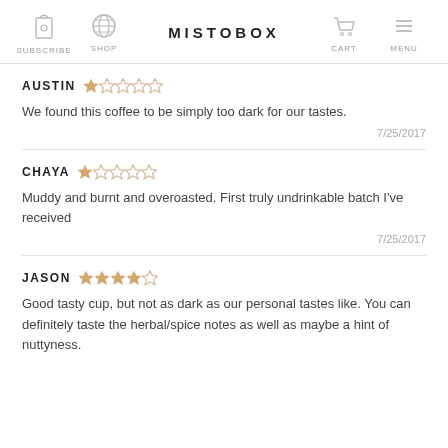SUBSCRIBE | SHOP | MISTOBOX | CART | MENU
AUSTIN ★☆☆☆☆
We found this coffee to be simply too dark for our tastes.
7/25/2017
CHAYA ★☆☆☆☆
Muddy and burnt and overoasted. First truly undrinkable batch I've received
7/25/2017
JASON ★★★★☆
Good tasty cup, but not as dark as our personal tastes like. You can definitely taste the herbal/spice notes as well as maybe a hint of nuttyness.